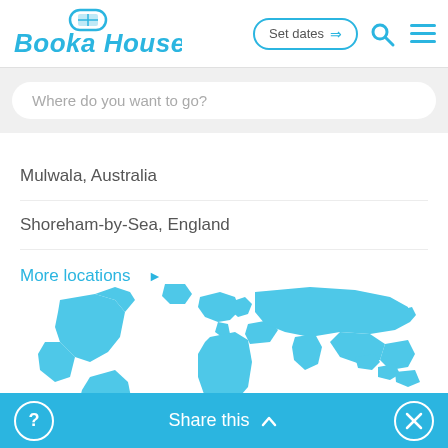Booka Houseboat — Set dates → [search icon] [menu icon]
Where do you want to go?
Mulwala, Australia
Shoreham-by-Sea, England
More locations ▶
[Figure (map): World map in blue and white showing continents, used as background image for a houseboat booking website.]
? | Share this ∧ | ✕